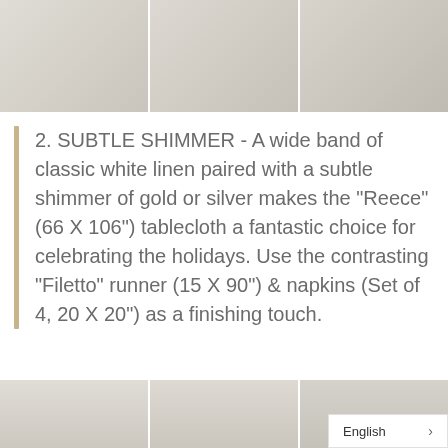[Figure (photo): Three product photos of white linen tablecloths and napkins displayed on a gray background, showing embroidered and shimmer details.]
2. SUBTLE SHIMMER - A wide band of classic white linen paired with a subtle shimmer of gold or silver makes the "Reece" (66 X 106") tablecloth a fantastic choice for celebrating the holidays. Use the contrasting "Filetto" runner (15 X 90") & napkins (Set of 4, 20 X 20") as a finishing touch.
[Figure (photo): Three partial product photos at the bottom of the page showing white linen table settings.]